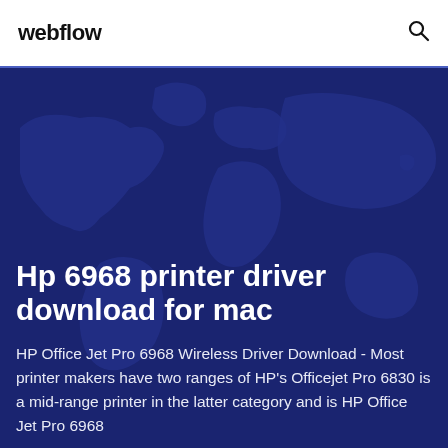webflow
Hp 6968 printer driver download for mac
HP Office Jet Pro 6968 Wireless Driver Download - Most printer makers have two ranges of HP's Officejet Pro 6830 is a mid-range printer in the latter category and is HP Office Jet Pro 6968